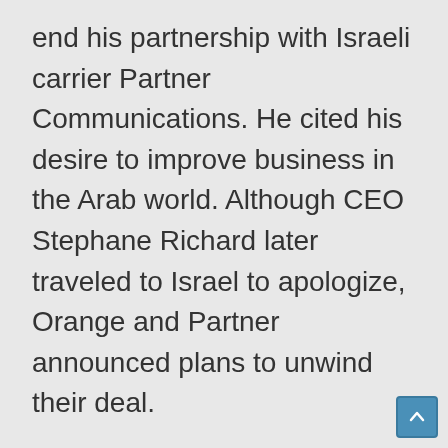end his partnership with Israeli carrier Partner Communications. He cited his desire to improve business in the Arab world. Although CEO Stephane Richard later traveled to Israel to apologize, Orange and Partner announced plans to unwind their deal.
The idea of boycotts is extremely sensitive in Israel. The Nazis launched a nationwide boycott of Jewish businesses and artists – often accompanied by acts of violence and anti-Semitic slogans – in the 1930s Germany ahead of the Holocaust. In the 1970s and 1980s, Arab countries pressured companies doing business with them to shun Israel. Currently, Israel is